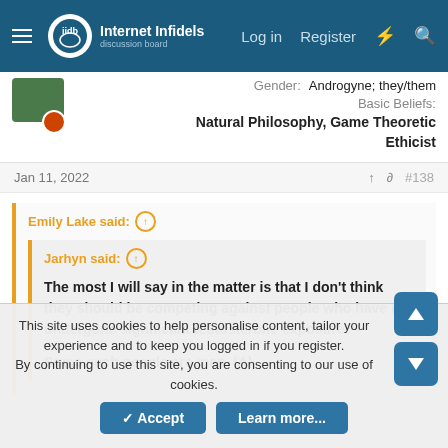Internet Infidels — Log in  Register
Gender: Androgyne; they/them
Basic Beliefs:
Natural Philosophy, Game Theoretic Ethicist
Jan 11, 2022  #138
Emily Lake said: ↑
Jarhyn said: ↑
The most I will say in the matter is that I don't think they should be competing against people who have not undergone significant testosterone exposure.
Some such people are men. (A)
This site uses cookies to help personalise content, tailor your experience and to keep you logged in if you register.
By continuing to use this site, you are consenting to our use of cookies.